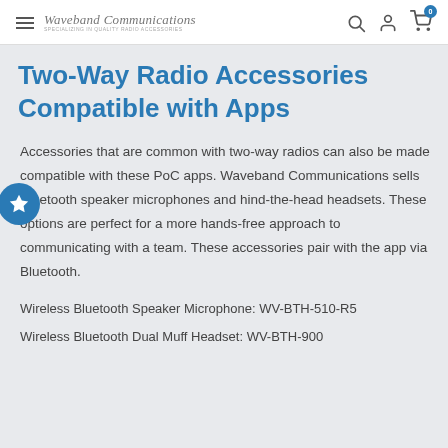Waveband Communications — SPECIALIZING IN QUALITY RADIO ACCESSORIES
Two-Way Radio Accessories Compatible with Apps
Accessories that are common with two-way radios can also be made compatible with these PoC apps. Waveband Communications sells Bluetooth speaker microphones and hind-the-head headsets. These options are perfect for a more hands-free approach to communicating with a team. These accessories pair with the app via Bluetooth.
Wireless Bluetooth Speaker Microphone: WV-BTH-510-R5
Wireless Bluetooth Dual Muff Headset: WV-BTH-900